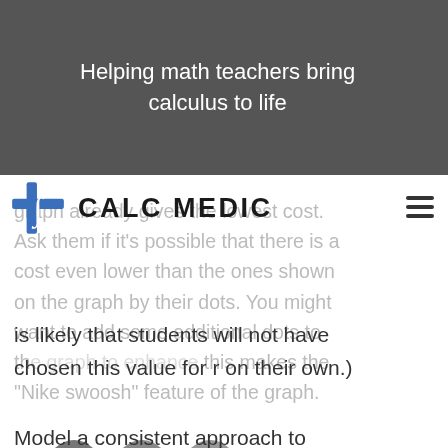Helping math teachers bring calculus to life
[Figure (logo): Calc Medic logo with blue cross/integral symbol and CALC MEDIC text]
graph already gives the lowest cost. Ask them if it's possible that there is a cost even lower than the ones shown on the graph by their dots. You might want to add some additional dots to the graph to enhance this makes the "Nike swoosh" feature of the graph. It is likely that students will not have chosen this value for r on their own.)
Model a consistent approach to solving optimization problems and remind students often why an organized, systematic method must be followed: while context can vary widely from one problem to the next, the